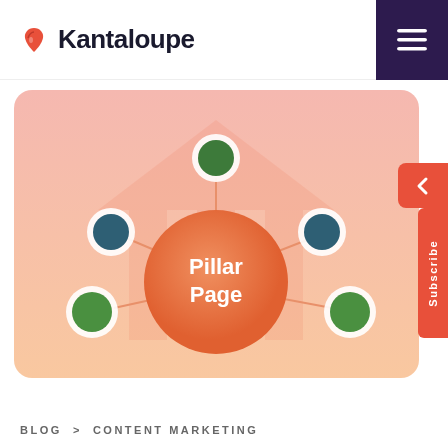Kantaloupe
[Figure (infographic): Pillar Page diagram showing a central orange circle labeled 'Pillar Page' connected by lines to 4 satellite circles (2 dark teal, 2 green) on a pink/salmon rounded rectangle background with a faint triangular pillar shape behind. One green circle is at top center, two teal circles at mid-left and mid-right, and two green circles at bottom-left and bottom-right.]
BLOG > CONTENT MARKETING